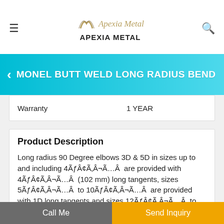APEXIA METAL
MONEL BUTT WELD LONG RADIUS BEND
| Warranty | 1 YEAR |
| --- | --- |
| Warranty | 1 YEAR |
Product Description
Long radius 90 Degree elbows 3D & 5D in sizes up to and including 4ÃƒÂ¢Ã¢â€šÂ¬Ã‚Â are provided with 4ÃƒÂ¢Ã¢â€šÂ¬Ã‚Â (102 mm) long tangents, sizes 5ÃƒÂ¢Ã¢â€šÂ¬Ã‚Â to 10ÃƒÂ¢Ã¢â€šÂ¬Ã‚Â are provided with 1D long tangents and sizes 12ÃƒÂ¢Ã¢â€šÂ¬Ã‚Â to
Call Me
Send Inquiry